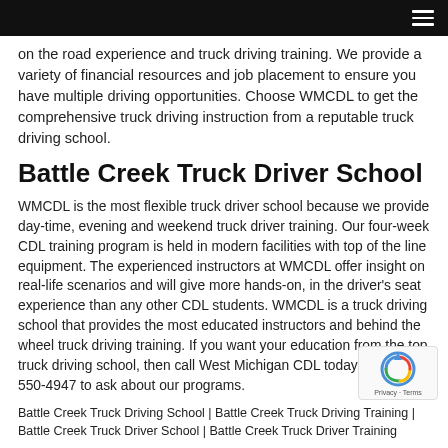[navigation bar with hamburger menu]
on the road experience and truck driving training. We provide a variety of financial resources and job placement to ensure you have multiple driving opportunities. Choose WMCDL to get the comprehensive truck driving instruction from a reputable truck driving school.
Battle Creek Truck Driver School
WMCDL is the most flexible truck driver school because we provide day-time, evening and weekend truck driver training. Our four-week CDL training program is held in modern facilities with top of the line equipment. The experienced instructors at WMCDL offer insight on real-life scenarios and will give more hands-on, in the driver's seat experience than any other CDL students. WMCDL is a truck driving school that provides the most educated instructors and behind the wheel truck driving training. If you want your education from the top truck driving school, then call West Michigan CDL today at (888) 550-4947 to ask about our programs.
Battle Creek Truck Driving School | Battle Creek Truck Driving Training | Battle Creek Truck Driver School | Battle Creek Truck Driver Training